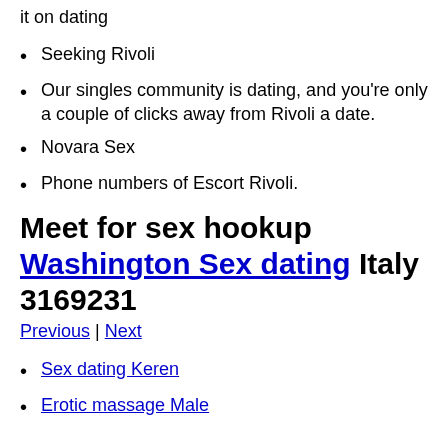it on dating
Seeking Rivoli
Our singles community is dating, and you're only a couple of clicks away from Rivoli a date.
Novara Sex
Phone numbers of Escort Rivoli.
Meet for sex hookup Washington Sex dating Italy 3169231
Previous | Next
Sex dating Keren
Erotic massage Male